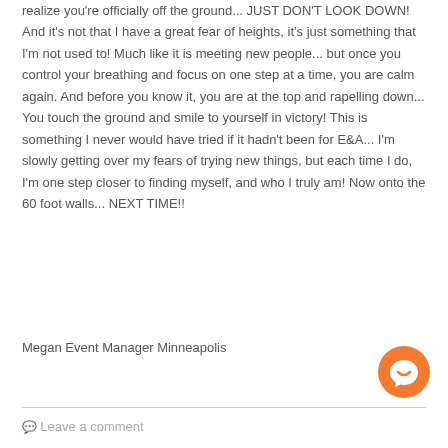realize you're officially off the ground... JUST DON'T LOOK DOWN!  And it's not that I have a great fear of heights, it's just something that I'm not used to!  Much like it is meeting new people... but once you control your breathing and focus on one step at a time, you are calm again.  And before you know it, you are at the top and rapelling down... You touch the ground and smile to yourself in victory!  This is something I never would have tried if it hadn't been for E&A... I'm slowly getting over my fears of trying new things, but each time I do, I'm one step closer to finding myself, and who I truly am!  Now onto the 60 foot walls... NEXT TIME!!
Megan Event Manager Minneapolis
Leave a comment